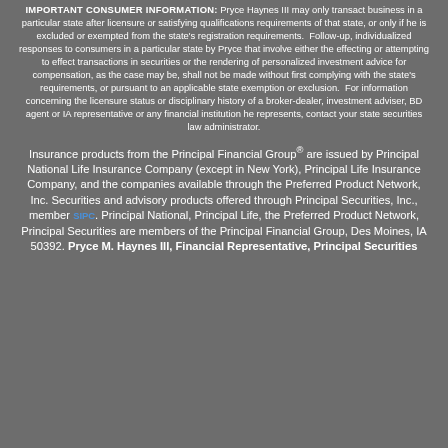IMPORTANT CONSUMER INFORMATION: Pryce Haynes III may only transact business in a particular state after licensure or satisfying qualifications requirements of that state, or only if he is excluded or exempted from the state's registration requirements. Follow-up, individualized responses to consumers in a particular state by Pryce that involve either the effecting or attempting to effect transactions in securities or the rendering of personalized investment advice for compensation, as the case may be, shall not be made without first complying with the state's requirements, or pursuant to an applicable state exemption or exclusion. For information concerning the licensure status or disciplinary history of a broker-dealer, investment adviser, BD agent or IA representative or any financial institution he represents, contact your state securities law administrator.
Insurance products from the Principal Financial Group® are issued by Principal National Life Insurance Company (except in New York), Principal Life Insurance Company, and the companies available through the Preferred Product Network, Inc. Securities and advisory products offered through Principal Securities, Inc., member SIPC. Principal National, Principal Life, the Preferred Product Network, Principal Securities are members of the Principal Financial Group, Des Moines, IA 50392. Pryce M. Haynes III, Financial Representative, Principal Securities